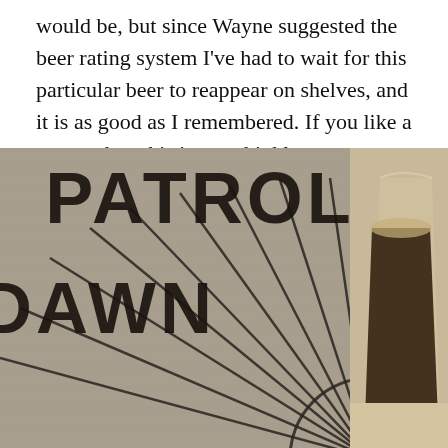would be, but since Wayne suggested the beer rating system I've had to wait for this particular beer to reappear on shelves, and it is as good as I remembered. If you like a porter, then this is very highly recommended. A fall/winter fireside sipper.
[Figure (photo): Close-up photo of a beer can/bottle label reading 'DAWN PATROL PORTER UNFILTERED' with a sunburst graphic design on a burlap-textured background, and a glass of dark beer visible on the right side.]